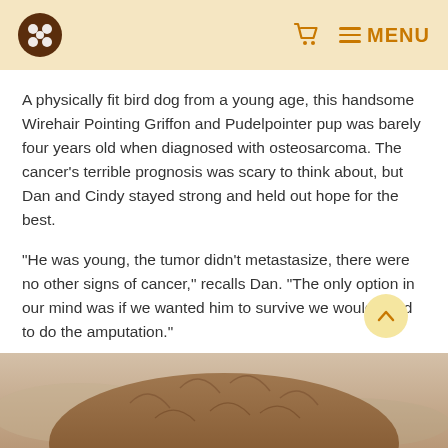MENU
A physically fit bird dog from a young age, this handsome Wirehair Pointing Griffon and Pudelpointer pup was barely four years old when diagnosed with osteosarcoma. The cancer’s terrible prognosis was scary to think about, but Dan and Cindy stayed strong and held out hope for the best.
“He was young, the tumor didn’t metastasize, there were no other signs of cancer,” recalls Dan. “The only option in our mind was if we wanted him to survive we would need to do the amputation.”
[Figure (photo): Close-up photo of a dog with brown/reddish fur, viewed from behind/above, on a rocky surface]